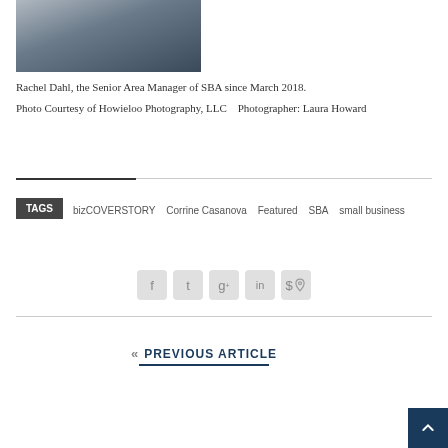[Figure (photo): Portrait photo of Rachel Dahl, woman with long blonde hair wearing a dark blazer and floral scarf, against a grey background]
Rachel Dahl, the Senior Area Manager of SBA since March 2018.
Photo Courtesy of Howieloo Photography, LLC   Photographer: Laura Howard
TAGS  bizCOVERSTORY  Corrine Casanova  Featured  SBA  small business
[Figure (infographic): Social sharing buttons: Facebook, Twitter, Google+, LinkedIn, Pinterest]
« PREVIOUS ARTICLE